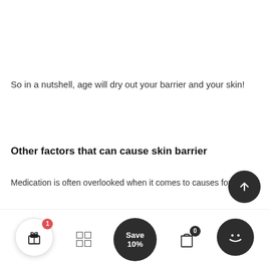So in a nutshell, age will dry out your barrier and your skin!
Other factors that can cause skin barrier
Medication is often overlooked when it comes to causes for dry
A variety of medication can dry your skin out but antihistamines